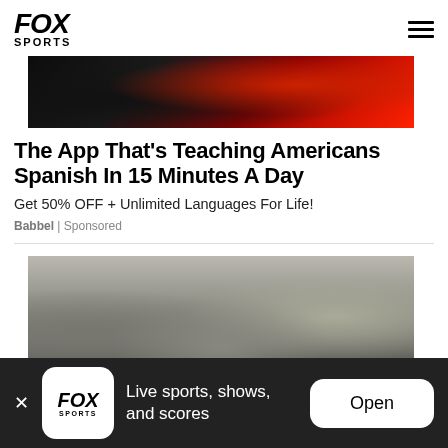FOX SPORTS
[Figure (photo): Partial image at top, dark background with red and green tones, appears to be a cropped photo]
The App That's Teaching Americans Spanish In 15 Minutes A Day
Get 50% OFF + Unlimited Languages For Life!
Babbel | Sponsored
[Figure (photo): Older bearded man in black sleeveless shirt in a gym, with gym equipment and other people in background]
Live sports, shows, and scores